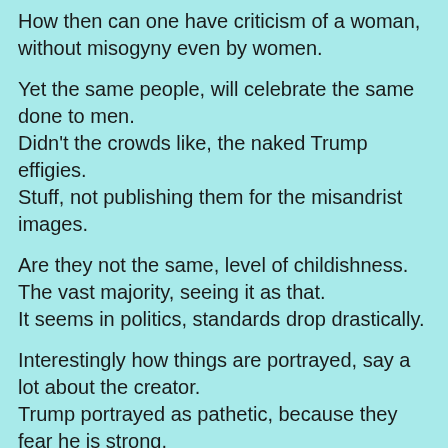How then can one have criticism of a woman, without misogyny even by women.
Yet the same people, will celebrate the same done to men.
Didn't the crowds like, the naked Trump effigies.
Stuff, not publishing them for the misandrist images.
Are they not the same, level of childishness.
The vast majority, seeing it as that.
It seems in politics, standards drop drastically.
Interestingly how things are portrayed, say a lot about the creator.
Trump portrayed as pathetic, because they fear he is strong.
Jacinda portrayed as strong, because they see her as strong.
If portrayed as strong, how can it be misogyny by